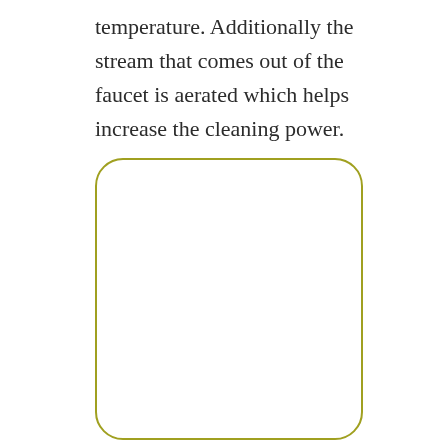temperature. Additionally the stream that comes out of the faucet is aerated which helps increase the cleaning power.
[Figure (other): A rounded rectangle border/frame with an olive/yellow-green outline, empty interior, white background.]